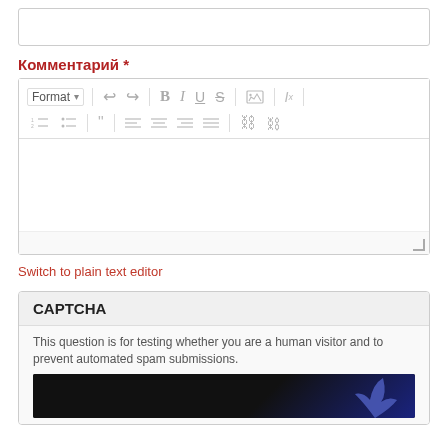[Figure (screenshot): Empty text input field with border]
Комментарий *
[Figure (screenshot): Rich text editor toolbar with Format dropdown, undo/redo, bold, italic, underline, strikethrough, image, clear formatting buttons on first row; numbered list, bullet list, blockquote, align left, align center, align right, justify, link, unlink buttons on second row; followed by empty editor body and resize handle]
Switch to plain text editor
CAPTCHA
This question is for testing whether you are a human visitor and to prevent automated spam submissions.
[Figure (screenshot): Dark CAPTCHA image area with blue bird/reCAPTCHA logo partially visible]